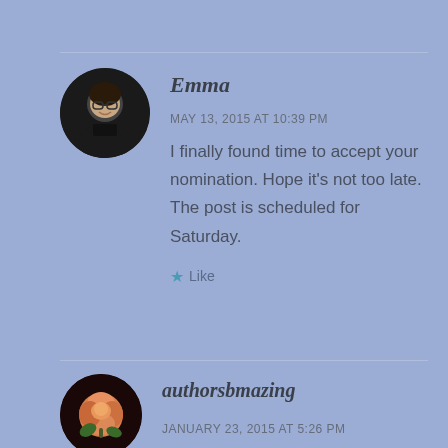[Figure (photo): Circular avatar of a person wearing glasses and a dark top, smiling]
Emma
MAY 13, 2015 AT 10:39 PM
I finally found time to accept your nomination. Hope it's not too late. The post is scheduled for Saturday.
Like
[Figure (photo): Circular avatar showing an orange rose flower]
authorsbmazing
JANUARY 23, 2015 AT 5:26 PM